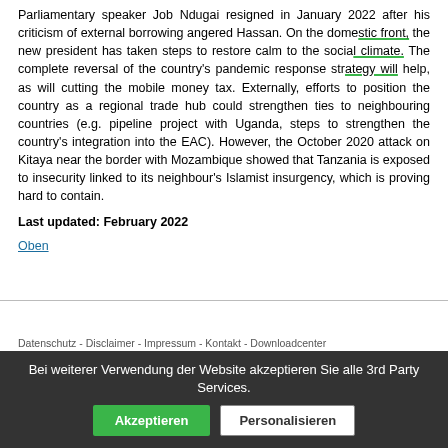Parliamentary speaker Job Ndugai resigned in January 2022 after his criticism of external borrowing angered Hassan. On the domestic front, the new president has taken steps to restore calm to the social climate. The complete reversal of the country's pandemic response strategy will help, as will cutting the mobile money tax. Externally, efforts to position the country as a regional trade hub could strengthen ties to neighbouring countries (e.g. pipeline project with Uganda, steps to strengthen the country's integration into the EAC). However, the October 2020 attack on Kitaya near the border with Mozambique showed that Tanzania is exposed to insecurity linked to its neighbour's Islamist insurgency, which is proving hard to contain.
Last updated: February 2022
Oben
Datenschutz - Disclaimer - Impressum - Kontakt - Downloadcenter
Cookies management panel
Bei weiterer Verwendung der Website akzeptieren Sie alle 3rd Party Services. Akzeptieren Personalisieren